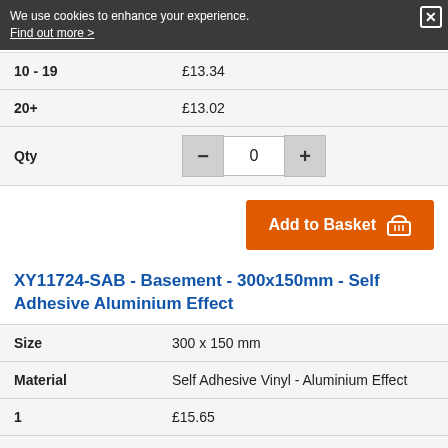We use cookies to enhance your experience. Find out more >
| Qty | Price |
| --- | --- |
| 10 - 19 | £13.34 |
| 20+ | £13.02 |
Qty  -  0  +
Add to Basket
XY11724-SAB - Basement - 300x150mm - Self Adhesive Aluminium Effect
| Attribute | Value |
| --- | --- |
| Size | 300 x 150 mm |
| Material | Self Adhesive Vinyl - Aluminium Effect |
| 1 | £15.65 |
| 2 - 4 | £15.39 |
| 5 - 9 | £15.12 |
| 10 - 19 | £14.81 |